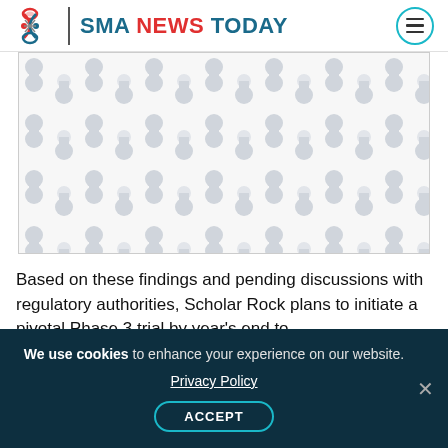SMA NEWS TODAY
[Figure (illustration): Decorative placeholder image with repeating DNA/molecular pattern in light grey on white background]
Based on these findings and pending discussions with regulatory authorities, Scholar Rock plans to initiate a pivotal Phase 3 trial by year's end to
We use cookies to enhance your experience on our website. Privacy Policy ACCEPT